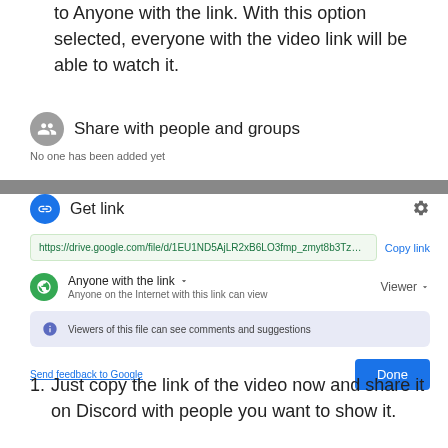to Anyone with the link. With this option selected, everyone with the video link will be able to watch it.
Share with people and groups
No one has been added yet
Get link
https://drive.google.com/file/d/1EU1ND5AjLR2xB6LO3fmp_zmyt8b3TzQ/v...
Copy link
Anyone with the link ▾
Anyone on the Internet with this link can view
Viewer ▾
Viewers of this file can see comments and suggestions
Send feedback to Google
Done
Just copy the link of the video now and share it on Discord with people you want to show it.